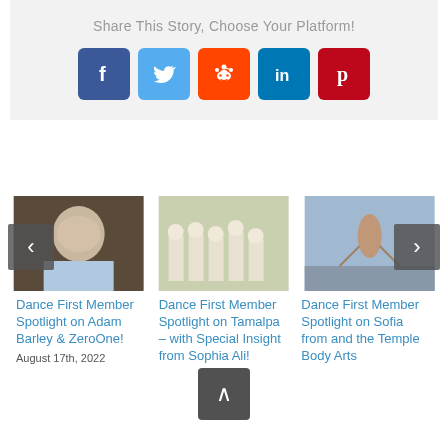Share This Story, Choose Your Platform!
[Figure (infographic): Social sharing icons: Facebook (dark blue), Twitter (light blue), Reddit (orange), LinkedIn (teal blue), Pinterest (dark red)]
[Figure (photo): Close-up portrait of a bald man looking directly at camera]
Dance First Member Spotlight on Adam Barley & ZeroOne!
August 17th, 2022
[Figure (photo): Group of performers wearing white outfits and masks, crouching together]
Dance First Member Spotlight on Tamalpa – with Special Insight from Sophia Ali!
[Figure (photo): Person performing fire dancing on a beach]
Dance First Member Spotlight on Sofia from and the Temple Body Arts